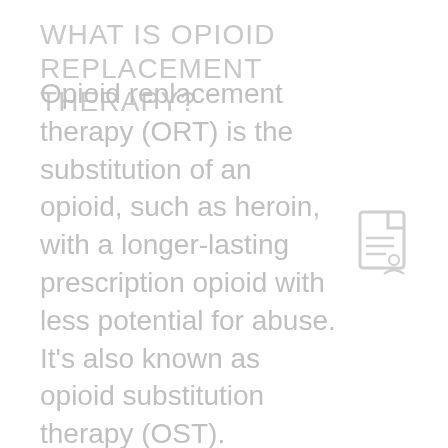WHAT IS OPIOID REPLACEMENT THERAPY?
Opioid replacement therapy (ORT) is the substitution of an opioid, such as heroin, with a longer-lasting prescription opioid with less potential for abuse. It's also known as opioid substitution therapy (OST). Methadone and buprenorphine are opioids that are typically used... Read More
[Figure (other): Document/file icon in light gray]